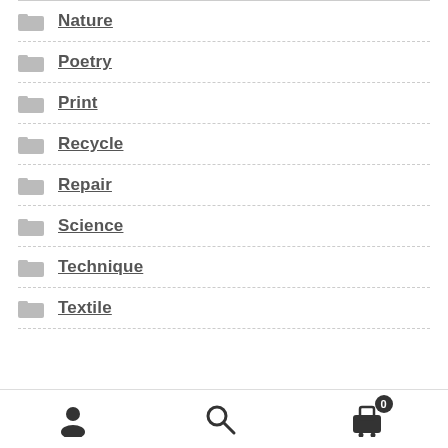Nature
Poetry
Print
Recycle
Repair
Science
Technique
Textile
User | Search | Cart (0)